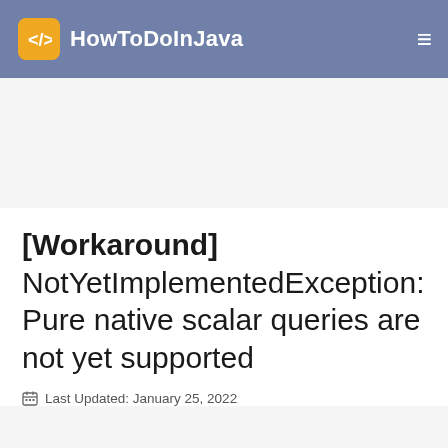HowToDoInJava
[Workaround] NotYetImplementedException: Pure native scalar queries are not yet supported
Last Updated: January 25, 2022